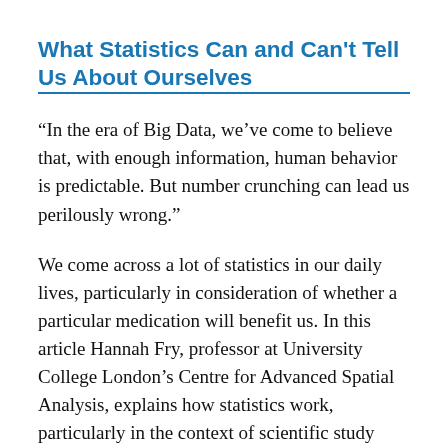What Statistics Can and Can't Tell Us About Ourselves
“In the era of Big Data, we’ve come to believe that, with enough information, human behavior is predictable. But number crunching can lead us perilously wrong.”
We come across a lot of statistics in our daily lives, particularly in consideration of whether a particular medication will benefit us. In this article Hannah Fry, professor at University College London’s Centre for Advanced Spatial Analysis, explains how statistics work, particularly in the context of scientific study results.